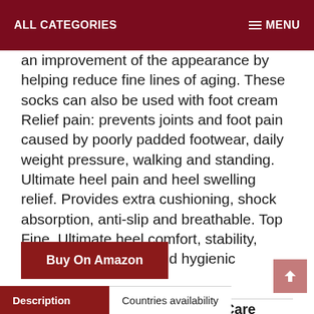ALL CATEGORIES   MENU
an improvement of the appearance by helping reduce fine lines of aging. These socks can also be used with foot cream Relief pain: prevents joints and foot pain caused by poorly padded footwear, daily weight pressure, walking and standing. Ultimate heel pain and heel swelling relief. Provides extra cushioning, shock absorption, anti-slip and breathable. Top Fine. Ultimate heel comfort, stability, reusable, economic and hygienic
Buy On Amazon
Category: Health and Personal Care
Description
Countries availability